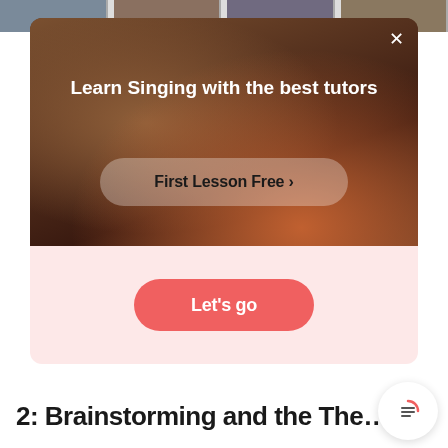[Figure (screenshot): Thumbnail strip of tutor profile photos at the top of the screen]
[Figure (screenshot): Modal overlay card with a video background showing a person, a close button (×), title 'Learn Singing with the best tutors', and a 'First Lesson Free >' button]
Learn Singing with the best tutors
First Lesson Free >
Let's go
2: Brainstorming and the The…